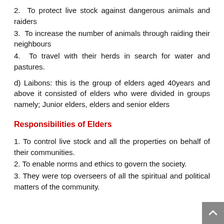2.  To protect live stock against dangerous animals and raiders
3.  To increase the number of animals through raiding their neighbours
4.  To travel with their herds in search for water and pastures.
d) Laibons: this is the group of elders aged 40years and above it consisted of elders who were divided in groups namely; Junior elders, elders and senior elders
Responsibilities of Elders
1. To control live stock and all the properties on behalf of their communities.
2. To enable norms and ethics to govern the society.
3. They were top overseers of all the spiritual and political matters of the community.